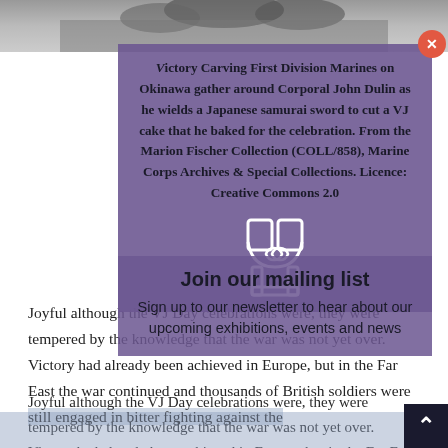[Figure (photo): Black and white photograph strip showing people, partially cropped at top of page]
Victory Carving First Division Marines on Okinawa gather around Corporal John Dulin as he wields a Japanese samurai sword to cut a VJ cake that he baked for the celebration. From the Marion Fischer Collection (COLL/858), Marine Corps Archives & Special Collections. Licence: Creative Commons 2.0
[Figure (infographic): Purple modal overlay with join our mailing list message and a chair/bookmark icon, with a red close button]
Join our mailing list
Sign up to our newsletter to hear about our upcoming exhibitions, events and news
Joyful although the VJ Day celebrations were, they were tempered by the knowledge that the war was not yet over. Victory had already been achieved in Europe, but in the Far East the war continued and thousands of British soldiers were still engaged in bitter fighting against the